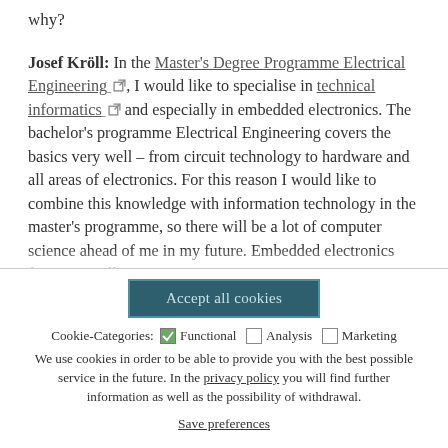why?
Josef Kröll: In the Master's Degree Programme Electrical Engineering, I would like to specialise in technical informatics and especially in embedded electronics. The bachelor's programme Electrical Engineering covers the basics very well – from circuit technology to hardware and all areas of electronics. For this reason I would like to combine this knowledge with information technology in the master's programme, so there will be a lot of computer science ahead of me in my future. Embedded electronics focuses on all
[Figure (screenshot): Cookie consent overlay with 'Accept all cookies' button, cookie category checkboxes (Functional checked, Analysis unchecked, Marketing unchecked), informational text about cookie usage referencing privacy policy, and a 'Save preferences' link.]